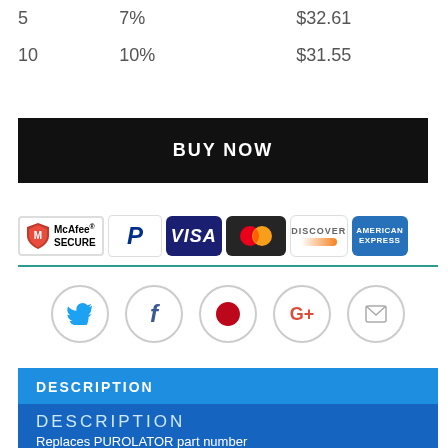| 5 | 7% | $32.61 |
| 10 | 10% | $31.55 |
BUY NOW
[Figure (illustration): Payment method logos: McAfee SECURE, PayPal, VISA, Mastercard, Discover, American Express]
[Figure (illustration): Social sharing icons: Twitter, Facebook, Pinterest, Google+, Email]
DESCRIPTION
DESCRIPTION
Replaces PUROLATOR part number